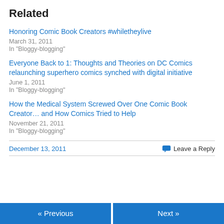Related
Honoring Comic Book Creators #whiletheylive
March 31, 2011
In "Bloggy-blogging"
Everyone Back to 1: Thoughts and Theories on DC Comics relaunching superhero comics synched with digital initiative
June 1, 2011
In "Bloggy-blogging"
How the Medical System Screwed Over One Comic Book Creator… and How Comics Tried to Help
November 21, 2011
In "Bloggy-blogging"
December 13, 2011 Leave a Reply
« Previous Next »